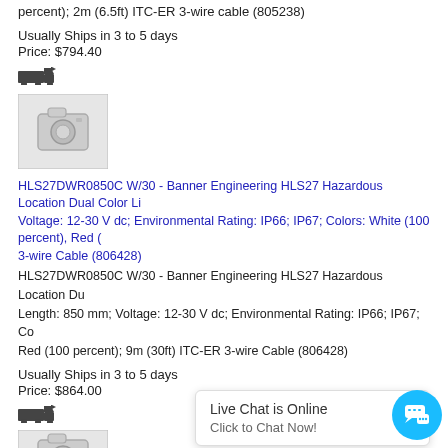percent); 2m (6.5ft) ITC-ER 3-wire cable (805238)
Usually Ships in 3 to 5 days
Price: $794.40
[Figure (illustration): Truck with flag shipping icon]
[Figure (photo): Placeholder camera icon image for product]
HLS27DWR0850C W/30 - Banner Engineering HLS27 Hazardous Location Dual Color Li Voltage: 12-30 V dc; Environmental Rating: IP66; IP67; Colors: White (100 percent), Red ( 3-wire Cable (806428)
HLS27DWR0850C W/30 - Banner Engineering HLS27 Hazardous Location Du Length: 850 mm; Voltage: 12-30 V dc; Environmental Rating: IP66; IP67; Co Red (100 percent); 9m (30ft) ITC-ER 3-wire Cable (806428)
Usually Ships in 3 to 5 days
Price: $864.00
[Figure (illustration): Truck with flag shipping icon]
[Figure (photo): Placeholder camera icon image for product]
Live Chat is Online
Click to Chat Now!
[Figure (illustration): Live chat button with speech bubble icon]